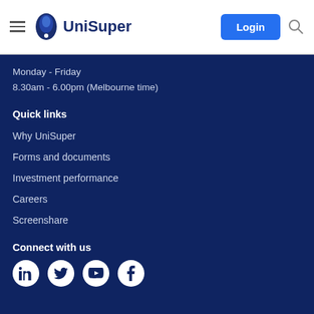[Figure (logo): UniSuper logo with navigation header including hamburger menu, Login button, and search icon]
Monday - Friday
8.30am - 6.00pm (Melbourne time)
Quick links
Why UniSuper
Forms and documents
Investment performance
Careers
Screenshare
Connect with us
[Figure (illustration): Social media icons: LinkedIn, Twitter, YouTube, Facebook — white circles on dark blue background]